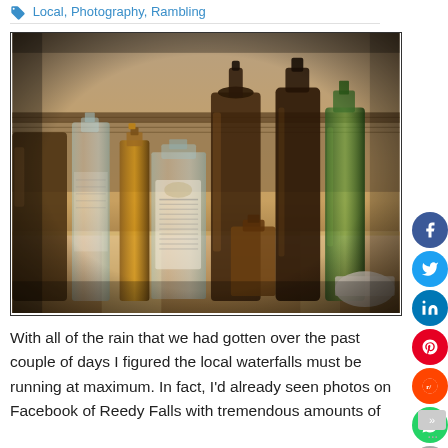Local, Photography, Rambling
[Figure (photo): A collection of antique glass bottles of various shapes, sizes and colors (clear, amber, green) arranged on a surface, with a sepia/warm-toned HDR-style photograph effect.]
With all of the rain that we had gotten over the past couple of days I figured the local waterfalls must be running at maximum. In fact, I'd already seen photos on Facebook of Reedy Falls with tremendous amounts of